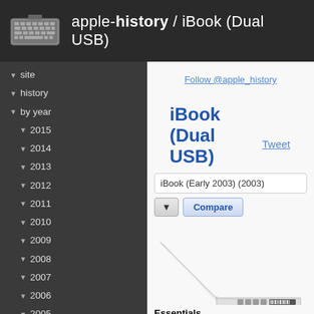apple-history / iBook (Dual USB)
▼ site
▼ history
▼ by year
▼ 2015
▼ 2014
▼ 2013
▼ 2012
▼ 2011
▼ 2010
▼ 2009
▼ 2008
▼ 2007
▼ 2006
▼ 2005
▼ 2004
▼ 2003
▼ 2002
▼ 2001
PowerBook G4 (Gigabit Ethernet)
iPod
iBook (Late 2001)
Power Macintosh G4
Follow @apple_history
iBook (Dual USB)
Tweet
iBook (Early 2003) (2003)
▼  Compare
[Figure (photo): iBook (Dual USB) laptop shown from the side/rear at an angle, white color, showing ports on the back edge]
Essentials
Family: iBook